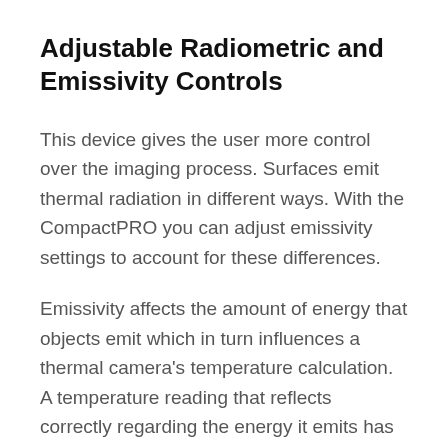Adjustable Radiometric and Emissivity Controls
This device gives the user more control over the imaging process. Surfaces emit thermal radiation in different ways. With the CompactPRO you can adjust emissivity settings to account for these differences.
Emissivity affects the amount of energy that objects emit which in turn influences a thermal camera's temperature calculation. A temperature reading that reflects correctly regarding the energy it emits has an emissivity of 1.